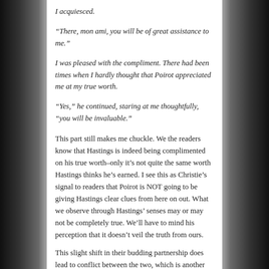I acquiesced.
“There, mon ami, you will be of great assistance to me.”
I was pleased with the compliment. There had been times when I hardly thought that Poirot appreciated me at my true worth.
“Yes,” he continued, staring at me thoughtfully, “you will be invaluable.”
This part still makes me chuckle. We the readers know that Hastings is indeed being complimented on his true worth–only it’s not quite the same worth Hastings thinks he’s earned. I see this as Christie’s signal to readers that Poirot is NOT going to be giving Hastings clear clues from here on out. What we observe through Hastings’ senses may or may not be completely true. We’ll have to mind his perception that it doesn’t veil the truth from ours.
This slight shift in their budding partnership does lead to conflict between the two, which is another reason why I enjoy these characters so much. True people react to how they’re treated, sometimes in surprising ways, and it sets off far reaching consequences. As in life.